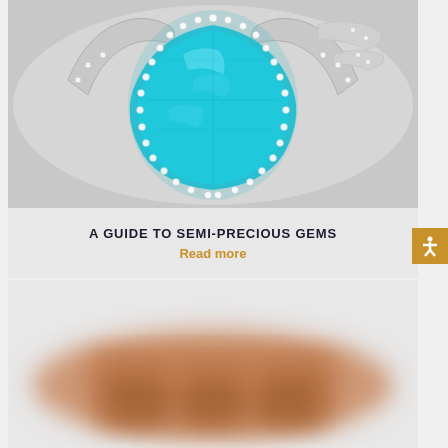[Figure (photo): A pear-shaped teal/turquoise gemstone ring with a diamond halo and split diamond band on a light gray background]
A GUIDE TO SEMI-PRECIOUS GEMS
Read more
[Figure (photo): A blurred brown/copper colored jewelry item on a light gray background]